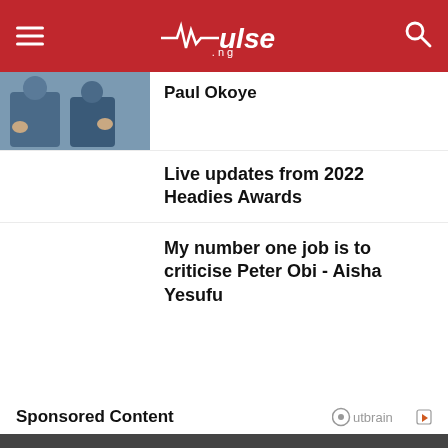pulse.ng
Paul Okoye
Live updates from 2022 Headies Awards
My number one job is to criticise Peter Obi - Aisha Yesufu
Sponsored Content
[Figure (logo): Outbrain logo]